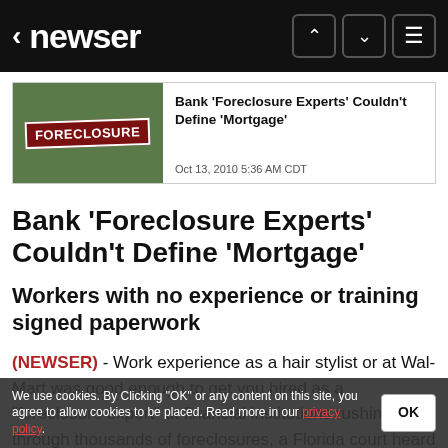newser
[Figure (screenshot): Article card preview with foreclosure sign photo and headline 'Bank Foreclosure Experts Couldn't Define Mortgage']
Oct 13, 2010 5:36 AM CDT
Bank 'Foreclosure Experts' Couldn't Define 'Mortgage'
Workers with no experience or training signed paperwork
(NEWSER) - Work experience as a hair stylist or at Wal-Mart was good enough to get you hired as a "foreclosure expert" at financial institutions rushing through thousands of foreclosures, a Florida court heard yesterday. A lawyer defending thousands of homeowners produced depositions from mortgage company brokers who testified that they...
We use cookies. By Clicking "OK" or any content on this site, you agree to allow cookies to be placed. Read more in our privacy policy.